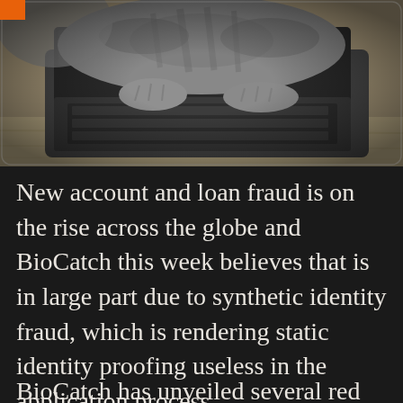[Figure (photo): A tabby cat lying on a wooden surface with its paws on a laptop keyboard, photographed from above. The image has a dark vignette around the edges.]
New account and loan fraud is on the rise across the globe and BioCatch this week believes that is in large part due to synthetic identity fraud, which is rendering static identity proofing useless in the application process.
BioCatch has unveiled several red